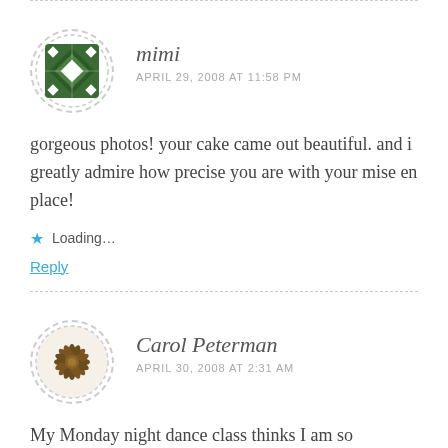[Figure (illustration): Circular dashed-border avatar with green geometric diamond/quilt pattern icon for user mimi]
mimi
APRIL 29, 2008 AT 11:58 PM
gorgeous photos! your cake came out beautiful. and i greatly admire how precise you are with your mise en place!
Loading...
Reply
[Figure (illustration): Circular dashed-border avatar with a star anise spice photo for user Carol Peterman]
Carol Peterman
APRIL 30, 2008 AT 2:31 AM
My Monday night dance class thinks I am so generous to